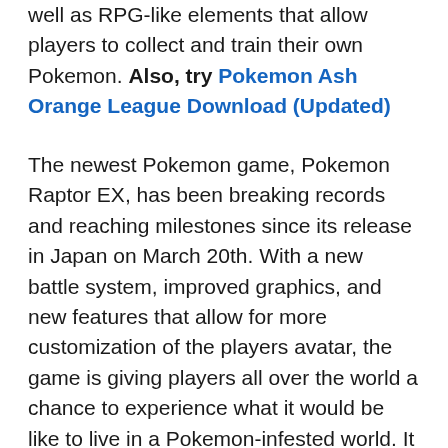well as RPG-like elements that allow players to collect and train their own Pokemon. Also, try Pokemon Ash Orange League Download (Updated)
The newest Pokemon game, Pokemon Raptor EX, has been breaking records and reaching milestones since its release in Japan on March 20th. With a new battle system, improved graphics, and new features that allow for more customization of the players avatar, the game is giving players all over the world a chance to experience what it would be like to live in a Pokemon-infested world. It was first announced at E3 2018 and has been in development for almost three years. The game takes place in an alternate world where players are encouraged to